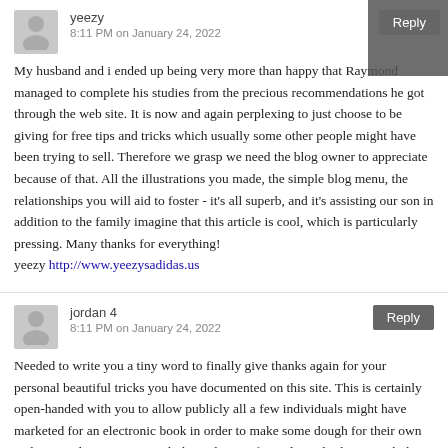yeezy
8:11 PM on January 24, 2022
My husband and i ended up being very more than happy that Raymond managed to complete his studies from the precious recommendations he got through the web site. It is now and again perplexing to just choose to be giving for free tips and tricks which usually some other people might have been trying to sell. Therefore we grasp we need the blog owner to appreciate because of that. All the illustrations you made, the simple blog menu, the relationships you will aid to foster - it's all superb, and it's assisting our son in addition to the family imagine that this article is cool, which is particularly pressing. Many thanks for everything!
yeezy http://www.yeezysadidas.us
jordan 4
8:11 PM on January 24, 2022
Needed to write you a tiny word to finally give thanks again for your personal beautiful tricks you have documented on this site. This is certainly open-handed with you to allow publicly all a few individuals might have marketed for an electronic book in order to make some dough for their own end, precisely since you might have done it if you desired. Those good ideas in addition acted as a good way to realize that most people have the same eagerness just like my very own to know a good deal more when considering this issue. I am sure there are lots of more enjoyable times ahead for folks who look over your blog post.